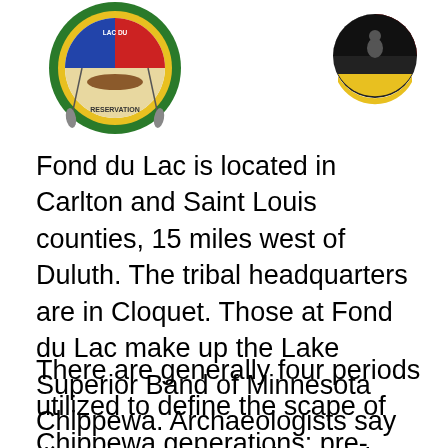[Figure (logo): Fond du Lac Reservation tribal seal/logo — circular green border with yellow inner ring, red top section, blue left section, white center area with a canoe and feathers, text reading 'RESERVATION' at bottom]
[Figure (logo): Second tribal logo — circular emblem with black, red, yellow, and white sections, featuring a figure, on white background]
Fond du Lac is located in Carlton and Saint Louis counties, 15 miles west of Duluth. The tribal headquarters are in Cloquet. Those at Fond du Lac make up the Lake Superior Band of Minnesota Chippewa. Archaeologists say that present day Chippewa have resided in the Great Lakes region since at least 800 AD, though oral traditions do speak of a westward migration from the east.
There are generally four periods utilized to define the scape of Chippewa generations: pre-contact, and then contact with the French, English, and the United States